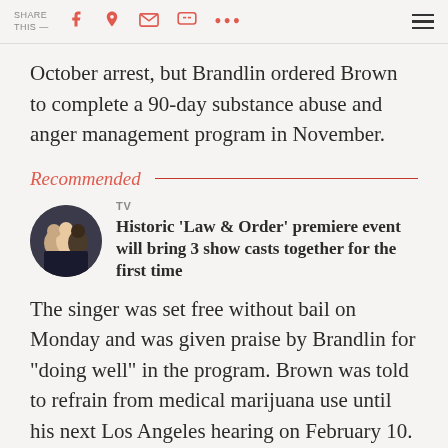SHARE THIS —
October arrest, but Brandlin ordered Brown to complete a 90-day substance abuse and anger management program in November.
Recommended
[Figure (photo): Circular thumbnail photo of three people in formal attire]
TV
Historic ‘Law & Order’ premiere event will bring 3 show casts together for the first time
The singer was set free without bail on Monday and was given praise by Brandlin for "doing well" in the program. Brown was told to refrain from medical marijuana use until his next Los Angeles hearing on February 10.